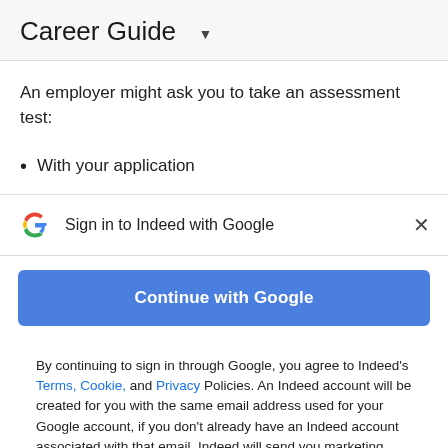Career Guide
An employer might ask you to take an assessment test:
With your application
Sign in to Indeed with Google
Continue with Google
By continuing to sign in through Google, you agree to Indeed's Terms, Cookie, and Privacy Policies. An Indeed account will be created for you with the same email address used for your Google account, if you don't already have an Indeed account associated with that email. Indeed will send you marketing emails unless you object to these and you can unsubscribe at any time.